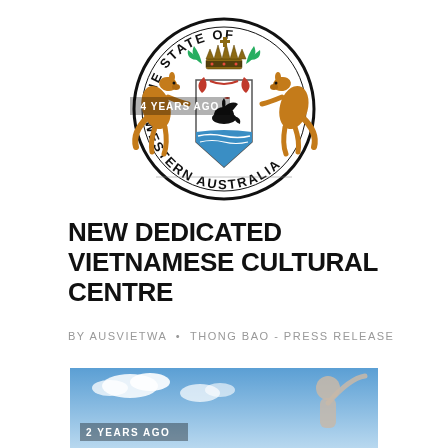[Figure (logo): Coat of arms of Western Australia — circular seal with two kangaroos flanking a shield bearing a black swan, topped with a crown and decorative elements, text reading THE STATE OF WESTERN AUSTRALIA around the border]
NEW DEDICATED VIETNAMESE CULTURAL CENTRE
BY AUSVIETWA • THONG BAO - PRESS RELEASE
[Figure (photo): Partial photo showing a blue sky with clouds and what appears to be a person or statue in the lower right, with an overlay label reading '2 YEARS AGO']